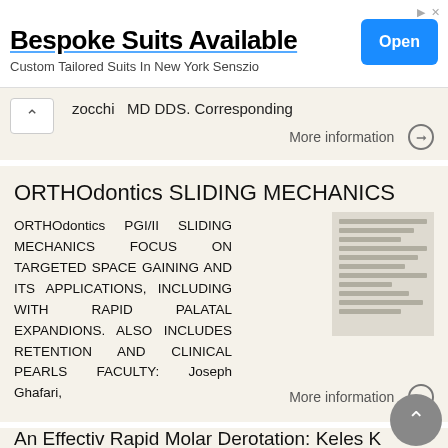[Figure (other): Advertisement banner: 'Bespoke Suits Available' with 'Open' button and subtitle 'Custom Tailored Suits In New York Senszio']
zocchi  MD DDS. Corresponding
More information →
ORTHOdontics SLIDING MECHANICS
ORTHOdontics PGI/II SLIDING MECHANICS FOCUS ON TARGETED SPACE GAINING AND ITS APPLICATIONS, INCLUDING WITH RAPID PALATAL EXPANDIONS. ALSO INCLUDES RETENTION AND CLINICAL PEARLS FACULTY: Joseph Ghafari,
More information →
An Effectiv Rapid Molar Derotation: Keles K